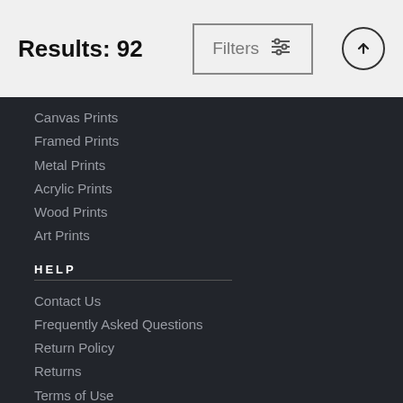Results: 92
[Figure (screenshot): Filters button with sliders icon and up-arrow circle button in header]
Canvas Prints
Framed Prints
Metal Prints
Acrylic Prints
Wood Prints
Art Prints
HELP
Contact Us
Frequently Asked Questions
Return Policy
Returns
Terms of Use
Privacy Policy
LOCATION SETTINGS
Ann Arbor, MI (United States)
Currency: USD ($)
Units: Inches